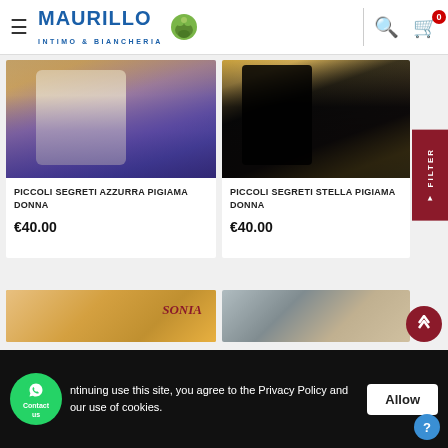Maurillo Intimo & Biancheria — navigation header with logo, search, and cart (0 items)
[Figure (photo): Product photo for PICCOLI SEGRETI AZZURRA PIGIAMA DONNA — woman wearing white pajama with orange accent]
PICCOLI SEGRETI AZZURRA PIGIAMA DONNA
€40.00
[Figure (photo): Product photo for PICCOLI SEGRETI STELLA PIGIAMA DONNA — person wearing black outfit]
PICCOLI SEGRETI STELLA PIGIAMA DONNA
€40.00
[Figure (photo): Partial product photo — bottom row left card, Sonia brand label visible]
[Figure (photo): Partial product photo — bottom row right card]
ntinuing use this site, you agree to the Privacy Policy and our use of cookies.
Allow